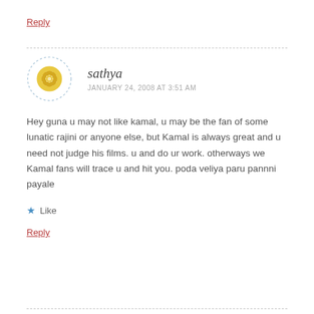Reply
[Figure (illustration): Circular avatar with yellow/gold floral geometric pattern on white background with light blue dashed border]
sathya
JANUARY 24, 2008 AT 3:51 AM
Hey guna u may not like kamal, u may be the fan of some lunatic rajini or anyone else, but Kamal is always great and u need not judge his films. u and do ur work. otherways we Kamal fans will trace u and hit you. poda veliya paru pannni payale
★ Like
Reply